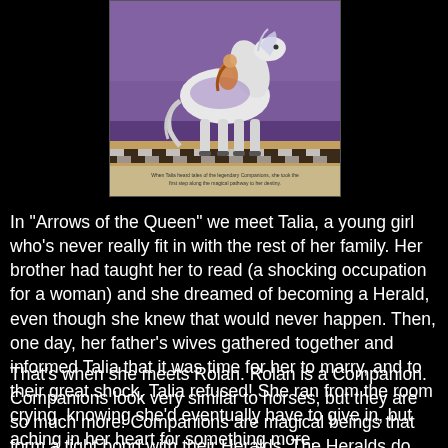[Figure (illustration): Book cover illustration showing a white horse-like Companion figure against a purple/fantasy background, with a caption at the bottom reading 'When Talia heard tales of the legendary Companions, she took the first step along the magical pathway to her destiny']
In "Arrows of the Queen" we meet Talia, a young girl who's never really fit in with the rest of her family. Her brother had taught her to read (a shocking occupation for a woman) and she dreamed of becoming a Herald, even though she knew that would never happen. Then, one day, her father's wives gathered together and informed Talia that it was time for her to marry, and to their great shock, Talia refused! She ran from the room crying, knowing she'd eventually have to give in, but aching in her heart for something more.
That's when she meets Rolan. Rolan is a Companion. Companions look very similar to horses, but they are so much more! Companions are magical beings that form a tight bond with their Heralds. The Heralds do not simply choose their occupation, a companion must choose and